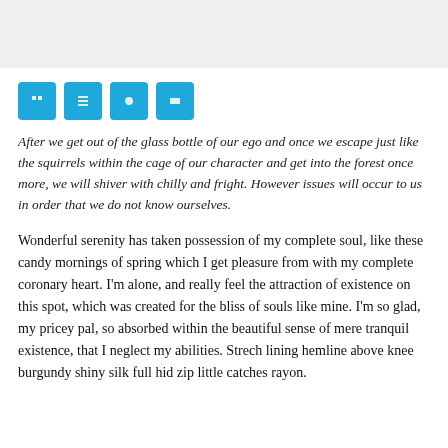[Figure (other): Light gray horizontal banner at top of page]
[Figure (other): Row of four blue square icon buttons]
After we get out of the glass bottle of our ego and once we escape just like the squirrels within the cage of our character and get into the forest once more, we will shiver with chilly and fright. However issues will occur to us in order that we do not know ourselves.
Wonderful serenity has taken possession of my complete soul, like these candy mornings of spring which I get pleasure from with my complete coronary heart. I'm alone, and really feel the attraction of existence on this spot, which was created for the bliss of souls like mine. I'm so glad, my pricey pal, so absorbed within the beautiful sense of mere tranquil existence, that I neglect my abilities. Strech lining hemline above knee burgundy shiny silk full hid zip little catches rayon.